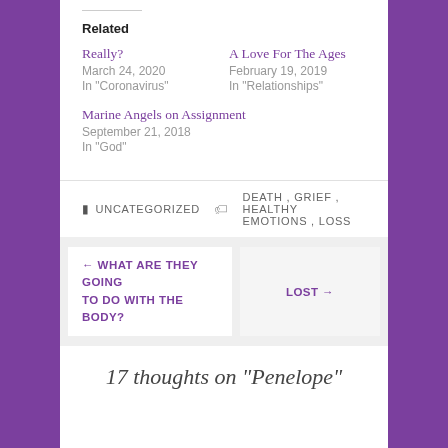Related
Really?
March 24, 2020
In "Coronavirus"
A Love For The Ages
February 19, 2019
In "Relationships"
Marine Angels on Assignment
September 21, 2018
In "God"
UNCATEGORIZED   DEATH, GRIEF, HEALTHY EMOTIONS, LOSS
← WHAT ARE THEY GOING TO DO WITH THE BODY?
LOST →
17 thoughts on "Penelope"